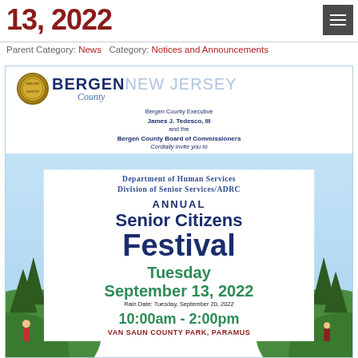13, 2022
Parent Category: News   Category: Notices and Announcements
[Figure (infographic): Bergen County New Jersey flyer for the Annual Senior Citizens Festival. Bergen County Executive James J. Tedesco, III and the Bergen County Board of Commissioners cordially invite you to Department of Human Services Division of Senior Services/ADRC Annual Senior Citizens Festival. Tuesday September 13, 2022. Rain Date: Tuesday, September 20, 2022. 10:00am - 2:00pm. Van Saun County Park, Paramus.]